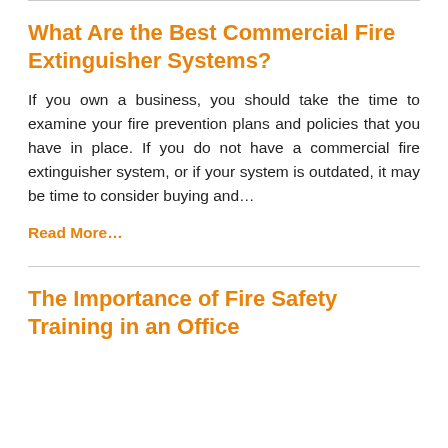What Are the Best Commercial Fire Extinguisher Systems?
If you own a business, you should take the time to examine your fire prevention plans and policies that you have in place. If you do not have a commercial fire extinguisher system, or if your system is outdated, it may be time to consider buying and…
Read More…
The Importance of Fire Safety Training in an Office